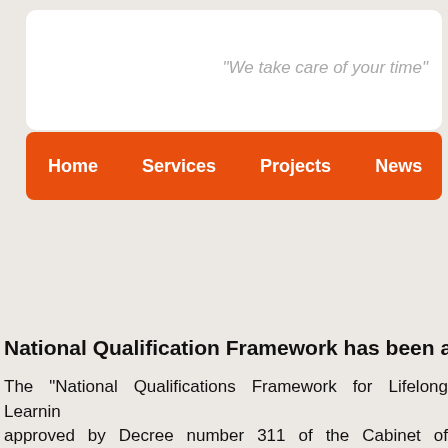[Figure (screenshot): Website header with white rounded box containing italic gray text: "We take care of your time"]
[Figure (screenshot): Orange navigation bar with white bold menu items: Home, Services, Projects, News, Ca... (partially cut off)]
National Qualification Framework has been approv...
The "National Qualifications Framework for Lifelong Learnin... approved by Decree number 311 of the Cabinet of Ministers of t... AzNQF is a framework document that identifies and descri... b... e... ll... d... b... f... l... ti... Thi... d... t...